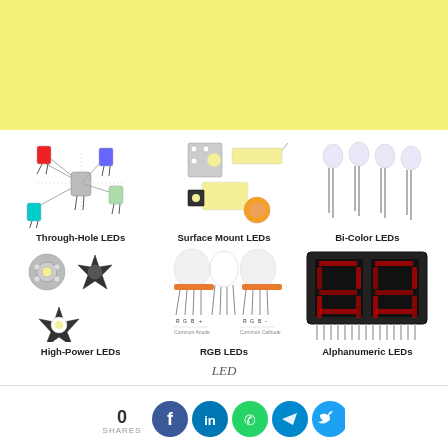[Figure (illustration): Yellow banner background at top of page]
[Figure (illustration): Through-Hole LEDs - various colored LEDs with leads arranged in cross pattern]
Through-Hole LEDs
[Figure (illustration): Surface Mount LEDs - various SMD LED packages in yellow/white]
Surface Mount LEDs
[Figure (illustration): Bi-Color LEDs - four clear LEDs with dual leads standing upright]
Bi-Color LEDs
[Figure (illustration): High-Power LEDs - star-shaped high-power LED modules]
High-Power LEDs
[Figure (illustration): RGB LEDs - Common Anode and Common Cathode RGB LED diagrams with labels R, G, B]
RGB LEDs
[Figure (illustration): Alphanumeric LEDs - dual digit alphanumeric LED display module]
Alphanumeric LEDs
LED
0 SHARES
[Figure (illustration): Social media share buttons: Facebook, LinkedIn, WhatsApp, Telegram, Twitter]